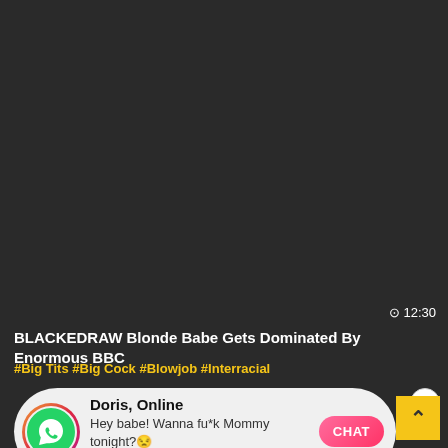⊙ 12:30
BLACKEDRAW Blonde Babe Gets Dominated By Enormous BBC
#Big Tits #Big Cock #Blowjob #Interracial
[Figure (screenshot): WhatsApp-style notification popup showing Doris Online with message Hey babe! Wanna fu*k Mommy tonight? 22:25 and a CHAT button]
[Figure (other): Yellow scroll-to-top button with upward caret]